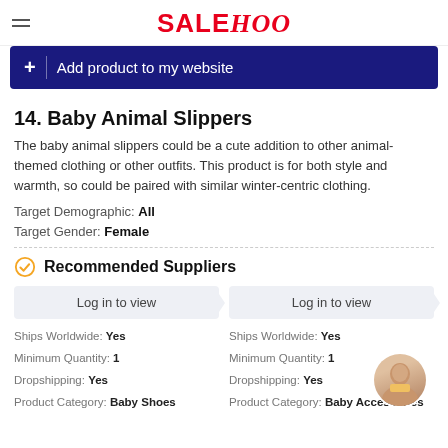SALEHOO
+ Add product to my website
14. Baby Animal Slippers
The baby animal slippers could be a cute addition to other animal-themed clothing or other outfits. This product is for both style and warmth, so could be paired with similar winter-centric clothing.
Target Demographic: All
Target Gender: Female
Recommended Suppliers
Log in to view
Ships Worldwide: Yes
Minimum Quantity: 1
Dropshipping: Yes
Product Category: Baby Shoes
Log in to view
Ships Worldwide: Yes
Minimum Quantity: 1
Dropshipping: Yes
Product Category: Baby Accessories